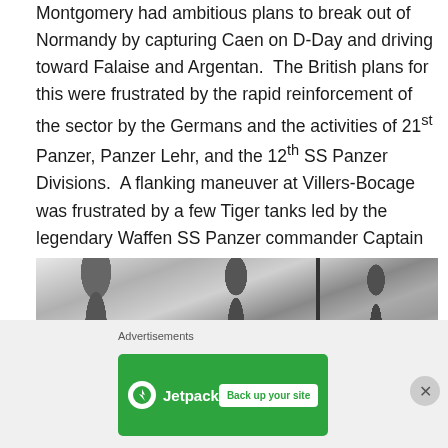Montgomery had ambitious plans to break out of Normandy by capturing Caen on D-Day and driving toward Falaise and Argentan. The British plans for this were frustrated by the rapid reinforcement of the sector by the Germans and the activities of 21st Panzer, Panzer Lehr, and the 12th SS Panzer Divisions. A flanking maneuver at Villers-Bocage was frustrated by a few Tiger tanks led by the legendary Waffen SS Panzer commander Captain Michael Wittman whose tanks devastated a British Armored battalion.[li]
[Figure (photo): Black and white historical photograph showing a military vehicle and trees in a landscape, likely from World War II era.]
[Figure (other): Jetpack advertisement banner with green background showing 'Jetpack' logo and 'Back up your site' button.]